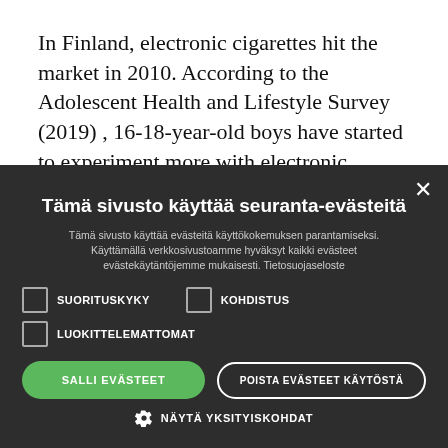In Finland, electronic cigarettes hit the market in 2010. According to the Adolescent Health and Lifestyle Survey (2019) , 16-18-year-old boys have started to experiment more with electronic cigarettes, but the same does not
[Figure (screenshot): Cookie consent dialog overlay with dark background. Title: 'Tämä sivusto käyttää seuranta-evästeitä'. Description text in Finnish. Checkboxes for SUORITUSKYKY, KOHDISTUS, LUOKITTELEMATTOMAT. Buttons: 'SALLI EVÄSTEET' (green) and 'POISTA EVÄSTEET KÄYTÖSTÄ' (outlined). Link 'NÄYTÄ YKSITYISKOHDAT' with gear icon.]